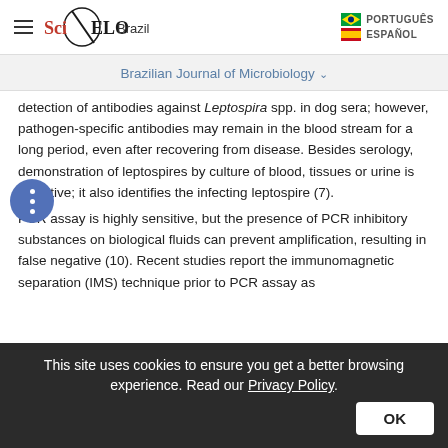SciELO Brazil | PORTUGUÊS | ESPAÑOL
Brazilian Journal of Microbiology ˅
detection of antibodies against Leptospira spp. in dog sera; however, pathogen-specific antibodies may remain in the blood stream for a long period, even after recovering from disease. Besides serology, demonstration of leptospires by culture of blood, tissues or urine is definitive; it also identifies the infecting leptospire (7).
PCR assay is highly sensitive, but the presence of PCR inhibitory substances on biological fluids can prevent amplification, resulting in false negative (10). Recent studies report the immunomagnetic separation (IMS) technique prior to PCR assay as
This site uses cookies to ensure you get a better browsing experience. Read our Privacy Policy.